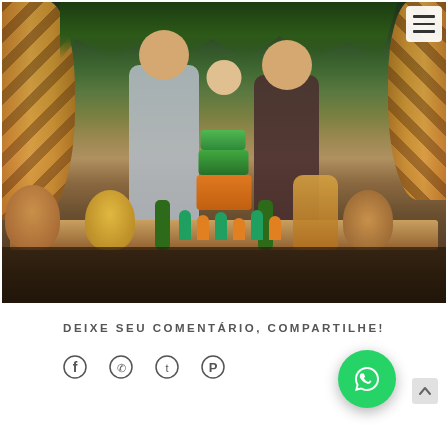[Figure (photo): Family birthday party photo with jungle/safari theme. A couple with a baby blowing out candles on a birthday cake, surrounded by stuffed animal toys (giraffe, lion, monkey), colorful candy table decorations, flowers, and a giraffe backdrop. Hamburger menu icon in top-right corner.]
DEIXE SEU COMENTÁRIO, COMPARTILHE!
[Figure (other): Social share icons: Facebook, WhatsApp, Twitter, Pinterest]
[Figure (other): WhatsApp floating button (green circle with phone icon)]